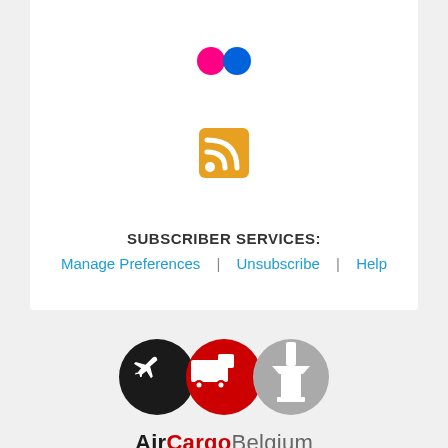[Figure (logo): Flickr icon with pink and blue dots on white rounded square background]
[Figure (logo): RSS feed icon orange rounded square with white signal waves]
SUBSCRIBER SERVICES:
Manage Preferences  |  Unsubscribe  |  Help
[Figure (logo): AirCargo Belgium logo with three overlapping circles: black with airplane, red with truck, gray with control tower]